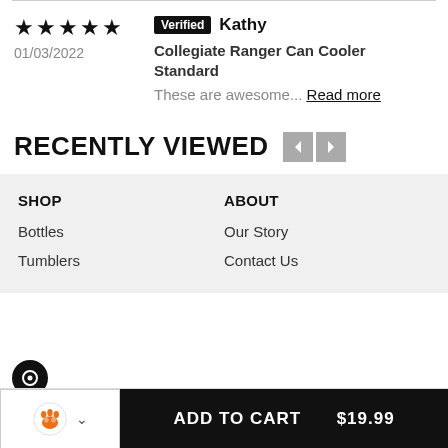★★★★★ 01/03/2022
Verified Kathy
Collegiate Ranger Can Cooler Standard
These are awesome... Read more
RECENTLY VIEWED
SHOP
Bottles
Tumblers
ABOUT
Our Story
Contact Us
ADD TO CART  $19.99